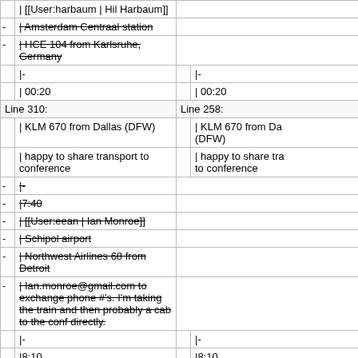| | [[User:harbaum | Hil Harbaum]] |  |
| - | Amsterdam Centraal station (strikethrough) |  |
| - | HCE 104 from Karlsruhe, Germany (strikethrough) |  |
| |- | |- |
| | 00:20 | | 00:20 |
| Line 310: | Line 258: |
| | KLM 670 from Dallas (DFW) | | KLM 670 from Da (DFW) |
| | happy to share transport to conference | | happy to share tra to conference |
| - |- |  |
| - |7:40 (strikethrough) |  |
| - | [[User:eean | Ian Monroe]] (strikethrough) |  |
| - | Schipol airport (strikethrough) |  |
| - | Northwest Airlines 68 from Detroit (strikethrough) |  |
| - | Ian.monroe@gmail.com to exchange phone #'s. I'm taking the train and then probably a cab to the conf directly. (strikethrough) |  |
| |- | |- |
| |8:10 | |8:10 |
| Line 334: | Line 276: |